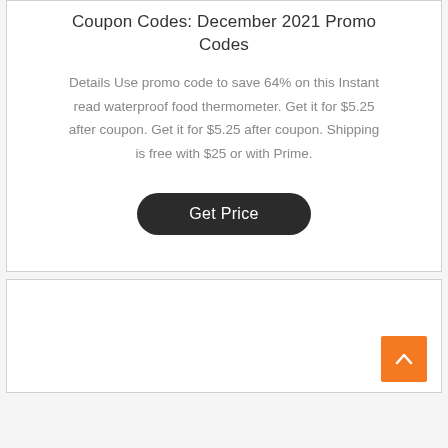Coupon Codes: December 2021 Promo Codes
Details Use promo code to save 64% on this Instant read waterproof food thermometer. Get it for $5.25 after coupon. Get it for $5.25 after coupon. Shipping is free with $25 or with Prime.
[Figure (other): Dark rounded rectangle button with white text reading 'Get Price']
[Figure (other): Orange square scroll-to-top button with white upward chevron arrow]